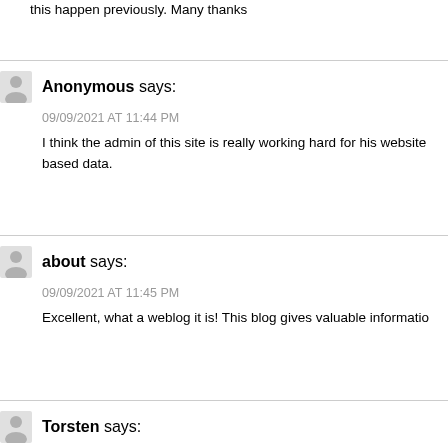this happen previously. Many thanks
Anonymous says:
09/09/2021 AT 11:44 PM
I think the admin of this site is really working hard for his website based data.
about says:
09/09/2021 AT 11:45 PM
Excellent, what a weblog it is! This blog gives valuable informatio
Torsten says: